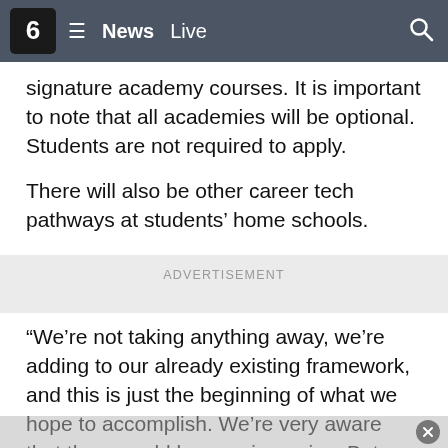6  ≡  News  Live  🔍
signature academy courses. It is important to note that all academies will be optional. Students are not required to apply.
There will also be other career tech pathways at students' home schools.
ADVERTISEMENT
“We’re not taking anything away, we’re adding to our already existing framework, and this is just the beginning of what we hope to accomplish. We’re very aware that there could be growing pains. But we’re willing to face those if the end result is better serving our students. That’s